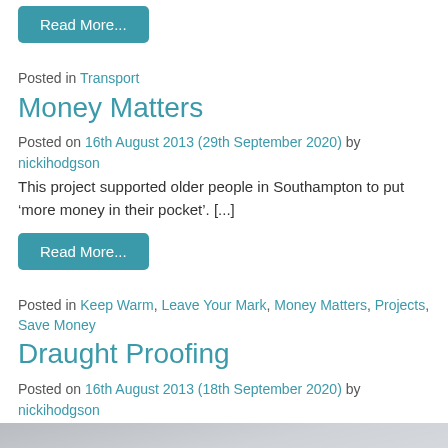Read More...
Posted in Transport
Money Matters
Posted on 16th August 2013 (29th September 2020) by nickihodgson
This project supported older people in Southampton to put ‘more money in their pocket’. [...]
Read More...
Posted in Keep Warm, Leave Your Mark, Money Matters, Projects, Save Money
Draught Proofing
Posted on 16th August 2013 (18th September 2020) by nickihodgson
[Figure (photo): Hands installing or adjusting a metallic draught excluder strip on a door]